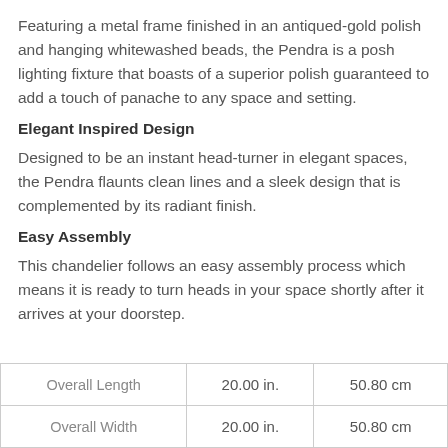Featuring a metal frame finished in an antiqued-gold polish and hanging whitewashed beads, the Pendra is a posh lighting fixture that boasts of a superior polish guaranteed to add a touch of panache to any space and setting.
Elegant Inspired Design
Designed to be an instant head-turner in elegant spaces, the Pendra flaunts clean lines and a sleek design that is complemented by its radiant finish.
Easy Assembly
This chandelier follows an easy assembly process which means it is ready to turn heads in your space shortly after it arrives at your doorstep.
| Overall Length | 20.00 in. | 50.80 cm |
| Overall Width | 20.00 in. | 50.80 cm |